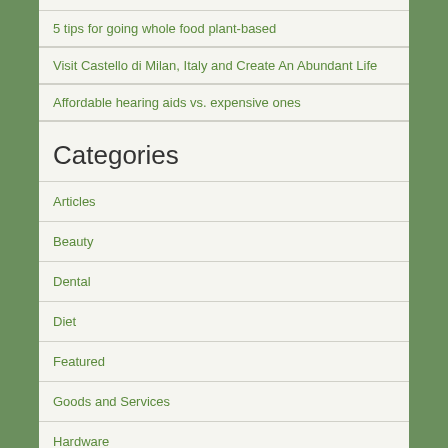5 tips for going whole food plant-based
Visit Castello di Milan, Italy and Create An Abundant Life
Affordable hearing aids vs. expensive ones
Categories
Articles
Beauty
Dental
Diet
Featured
Goods and Services
Hardware
Health